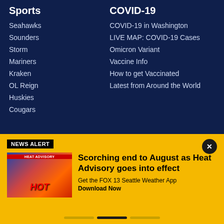Sports
Seahawks
Sounders
Storm
Mariners
Kraken
OL Reign
Huskies
Cougars
COVID-19
COVID-19 in Washington
LIVE MAP: COVID-19 Cases
Omicron Variant
Vaccine Info
How to get Vaccinated
Latest from Around the World
NEWS ALERT
Scorching end to August as Heat Advisory goes into effect
Get the FOX 13 Seattle Weather App
Download Now
[Figure (photo): Heat Advisory weather map showing hot conditions across the Pacific Northwest region with HOT text overlay]